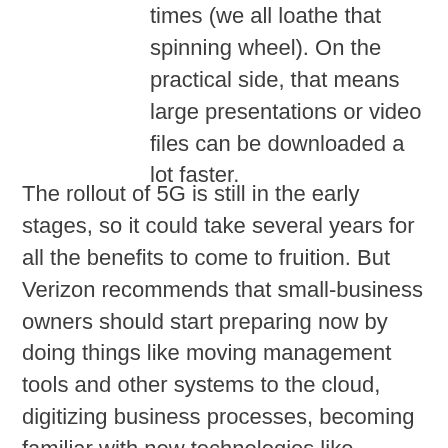times (we all loathe that spinning wheel). On the practical side, that means large presentations or video files can be downloaded a lot faster.
The rollout of 5G is still in the early stages, so it could take several years for all the benefits to come to fruition. But Verizon recommends that small-business owners should start preparing now by doing things like moving management tools and other systems to the cloud, digitizing business processes, becoming familiar with new technologies like augmented reality, and securing and protecting your business data.